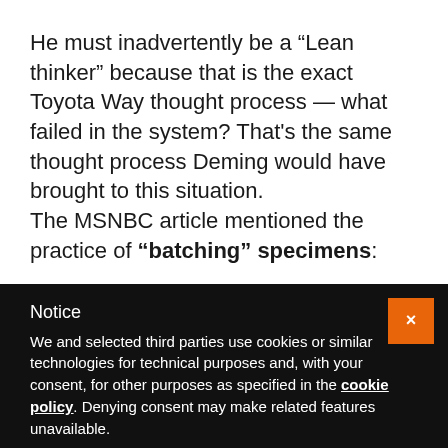He must inadvertently be a “Lean thinker” because that is the exact Toyota Way thought process — what failed in the system? That’s the same thought process Deming would have brought to this situation.
The MSNBC article mentioned the practice of “batching” specimens:
Notice
We and selected third parties use cookies or similar technologies for technical purposes and, with your consent, for other purposes as specified in the cookie policy. Denying consent may make related features unavailable.
You can consent to the use of such technologies by closing this notice, by scrolling this page, by interacting with any link or button outside of this notice or by continuing to browse otherwise.